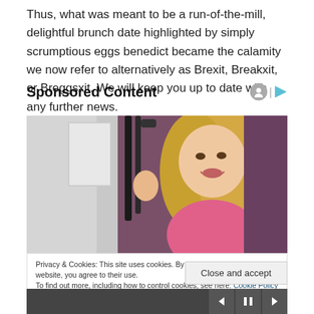Thus, what was meant to be a run-of-the-mill, delightful brunch date highlighted by simply scrumptious eggs benedict became the calamity we now refer to alternatively as Brexit, Breakxit, or Breggsxit. We will keep you up to date with any further news.
Sponsored Content
[Figure (photo): Advertisement photo showing a blonde woman holding what appear to be crutches or poles, smiling at the camera, with a purple/pink blurred background.]
Privacy & Cookies: This site uses cookies. By continuing to use this website, you agree to their use.
To find out more, including how to control cookies, see here: Cookie Policy
Close and accept